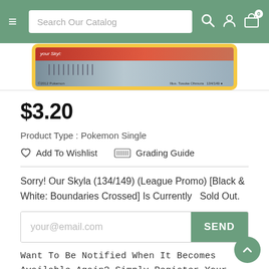Search Our Catalog
[Figure (photo): Pokemon card (Skyla 134/149) shown in yellow border with red top strip and silver metallic bottom area]
$3.20
Product Type :  Pokemon Single
♡  Add To Wishlist    ⊟  Grading Guide
Sorry! Our Skyla (134/149) (League Promo) [Black & White: Boundaries Crossed] Is Currently  Sold Out.
your@email.com    SEND
Want To Be Notified When It Becomes Available Again? Simply Register Your Interest And We'll